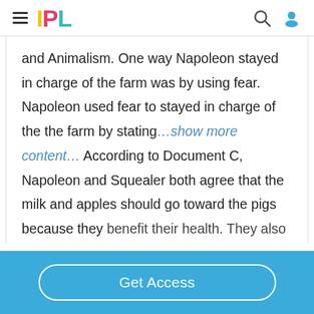IPL
and Animalism. One way Napoleon stayed in charge of the farm was by using fear. Napoleon used fear to stayed in charge of the the farm by stating…show more content… According to Document C, Napoleon and Squealer both agree that the milk and apples should go toward the pigs because they benefit their health. They also said that milk
Get Access